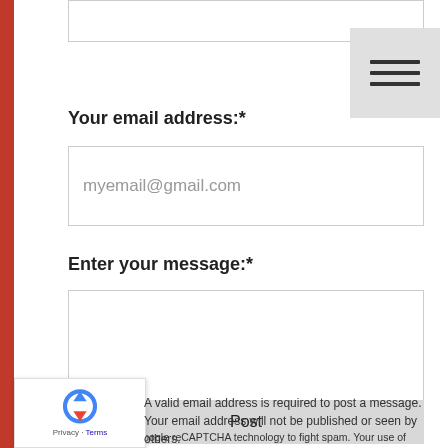Your email address:*
[Figure (screenshot): Email input field with placeholder text 'myemail@gmail.com']
Enter your message:*
[Figure (screenshot): Large message textarea input box]
This site uses Google reCAPTCHA technology to fight spam. Your use of reCAPTCHA is subject to Google's Privacy Policy and Terms of Service.
[Figure (screenshot): Post button]
[Figure (logo): Google reCAPTCHA badge with logo, Privacy and Terms links]
A valid email address is required to post a message. Your email address will not be published or seen by others.